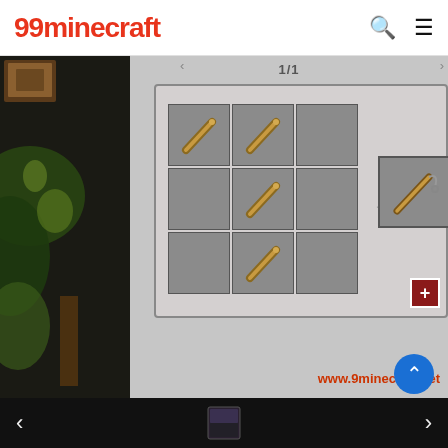99minecraft
[Figure (screenshot): Minecraft crafting table UI showing a 3x3 grid with sticks arranged diagonally (top-left, middle-center, bottom-center cells) producing a fishing rod result. Counter shows 1/1. Website watermark: www.9minecraft.net]
[Figure (screenshot): Bottom navigation strip of Minecraft screenshot page with left/right arrows and a dark item icon in the center]